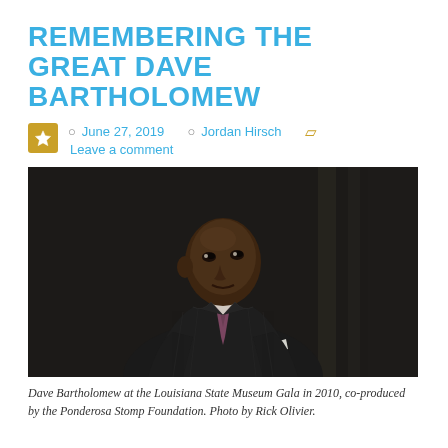REMEMBERING THE GREAT DAVE BARTHOLOMEW
June 27, 2019  Jordan Hirsch  Leave a comment
[Figure (photo): Dave Bartholomew in a dark pinstripe suit with a patterned tie, looking upward, photographed in a dimly lit setting.]
Dave Bartholomew at the Louisiana State Museum Gala in 2010, co-produced by the Ponderosa Stomp Foundation. Photo by Rick Olivier.